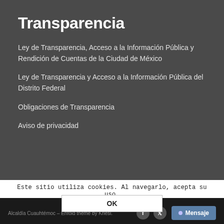Transparencia
Ley de Transparencia, Acceso a la Información Pública y Rendición de Cuentas de la Ciudad de México
Ley de Transparencia y Acceso a la Información Pública del Distrito Federal
Obligaciones de Transparencia
Aviso de privacidad
Este sitio utiliza cookies. Al navegarlo, acepta su uso. OK
Alcaldía Cuauhtémoc – Enfold theme by Kriesi.